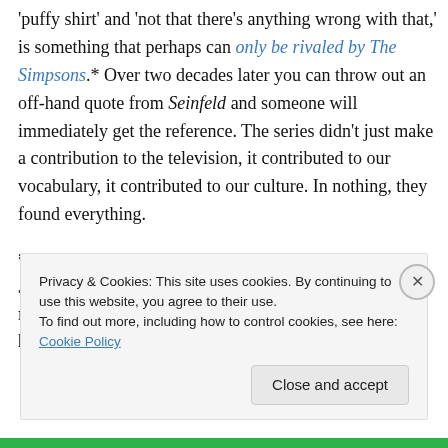'puffy shirt' and 'not that there's anything wrong with that,' is something that perhaps can only be rivaled by The Simpsons.* Over two decades later you can throw out an off-hand quote from Seinfeld and someone will immediately get the reference. The series didn't just make a contribution to the television, it contributed to our vocabulary, it contributed to our culture. In nothing, they found everything.
*Interesting to note that when I went to sleep-away Jew camp for the first and only time in 1997 I recorded audio from two shows onto cassette and listened to
Privacy & Cookies: This site uses cookies. By continuing to use this website, you agree to their use.
To find out more, including how to control cookies, see here: Cookie Policy